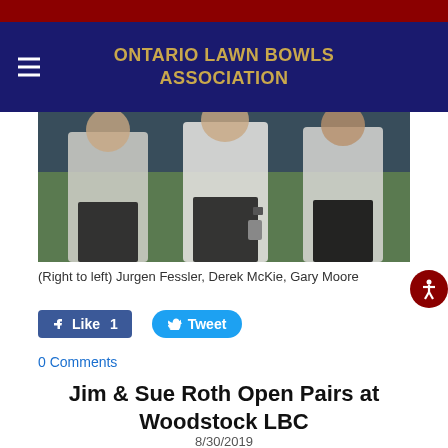ONTARIO LAWN BOWLS ASSOCIATION
[Figure (photo): Three people standing on a lawn bowling green wearing white shirts and dark pants. Right to left: Jurgen Fessler, Derek McKie, Gary Moore.]
(Right to left) Jurgen Fessler, Derek McKie, Gary Moore
Like 1   Tweet
0 Comments
Jim & Sue Roth Open Pairs at Woodstock LBC
8/30/2019